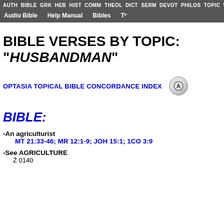AUTH BIBLE GRK HEB HIST COMM THEOL DICT SERM DEVOT PHILOS TOPIC WRIT LANG CREED AUDIO
Audio Bible   Help Manual   Bibles   Time Line
BIBLE VERSES BY TOPIC: "HUSBANDMAN"
OPTASIA TOPICAL BIBLE CONCORDANCE INDEX
BIBLE:
-An agriculturist
MT 21:33-46; MR 12:1-9; JOH 15:1; 1CO 3:9
-See AGRICULTURE
Ż 0140